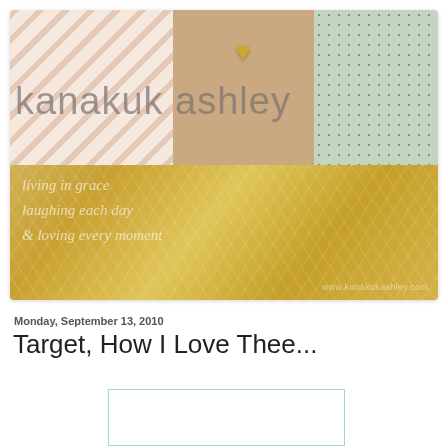[Figure (illustration): Blog header banner for 'kanakuk ashley' with three decorative panels (diagonal peach stripes, tan/beige with gold heart, mint green with dots) and a gold herringbone band below containing script text: 'living in grace, laughing each day, & loving every moment' and URL www.kanakukashley.com]
Monday, September 13, 2010
Target, How I Love Thee...
[Figure (photo): Empty/white image placeholder with teal border]